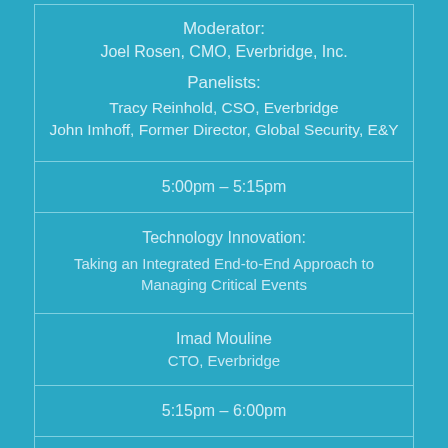| Moderator:
Joel Rosen, CMO, Everbridge, Inc.

Panelists:
Tracy Reinhold, CSO, Everbridge
John Imhoff, Former Director, Global Security, E&Y |
| 5:00pm – 5:15pm |
| Technology Innovation:
Taking an Integrated End-to-End Approach to Managing Critical Events |
| Imad Mouline
CTO, Everbridge |
| 5:15pm – 6:00pm |
| Keynote Discussion: |